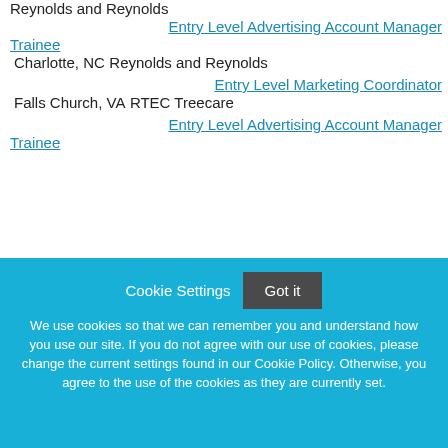Reynolds and Reynolds
Entry Level Advertising Account Manager Trainee
Charlotte, NC
Reynolds and Reynolds
Entry Level Marketing Coordinator
Falls Church, VA
RTEC Treecare
Entry Level Advertising Account Manager Trainee
Cookie Settings  Got it
We use cookies so that we can remember you and understand how you use our site. If you do not agree with our use of cookies, please change the current settings found in our Cookie Policy. Otherwise, you agree to the use of the cookies as they are currently set.